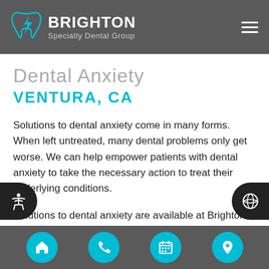BRIGHTON Specialty Dental Group
Dental Anxiety
VENTURA, CA
Solutions to dental anxiety come in many forms. When left untreated, many dental problems only get worse. We can help empower patients with dental anxiety to take the necessary action to treat their underlying conditions.
Solutions to dental anxiety are available at Brighton Specialty Dental Group in Ventura and the surrounding area. Fear should never get in the way of your health. Call at (805) 644-5284 to learn more and schedule an
Home | Phone | Calendar | Location